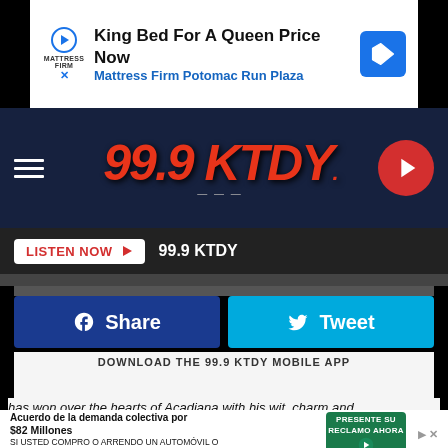[Figure (screenshot): Mattress Firm advertisement banner: King Bed For A Queen Price Now, Mattress Firm Potomac Run Plaza]
[Figure (logo): 99.9 KTDY radio station header with hamburger menu and play button]
[Figure (screenshot): LISTEN NOW button with 99.9 KTDY label]
[Figure (screenshot): Share and Tweet social media buttons]
DOWNLOAD THE 99.9 KTDY MOBILE APP
[Figure (screenshot): GET OUR FREE MOBILE APP red button]
Also listen on: amazon alexa
has won over the hearts of Acadiana with his wit, charm and
[Figure (screenshot): Bottom advertisement: Acuerdo de la demanda colectiva por $82 Millones - SI USTED COMPRO O ARRENDO UN AUTOMOVIL O CAMION NUEVO EN CALIFORNIA DESDE 2001 A 2003]